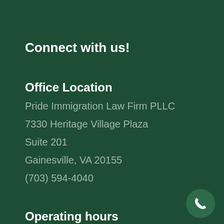Connect with us!
Office Location
Pride Immigration Law Firm PLLC
7330 Heritage Village Plaza
Suite 201
Gainesville, VA 20155
(703) 594-4040
Operating hours
Monday:
9am - 5pm
[Figure (illustration): Phone icon in a circular green button]